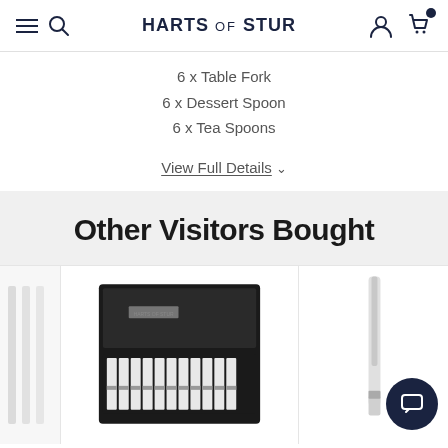HARTS OF STUR
6 x Table Fork
6 x Dessert Spoon
6 x Tea Spoons
View Full Details
Other Visitors Bought
[Figure (photo): Cutlery set in a black presentation box with multiple knives/utensils with white handles arranged in a row]
[Figure (photo): Close-up of a single cutlery piece (butter knife/spreader) with a silver handle on white background]